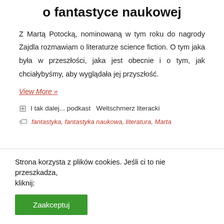o fantastyce naukowej
Z Martą Potocką, nominowaną w tym roku do nagrody Zajdla rozmawiam o literaturze science fiction. O tym jaka była w przeszłości, jaka jest obecnie i o tym, jak chciałybyśmy, aby wyglądała jej przyszłość.
View More »
I tak dalej... podkast   Weltschmerz literacki
fantastyka, fantastyka naukowa, literatura, Marta
Strona korzysta z plików cookies. Jeśli ci to nie przeszkadza, kliknij:
Zaakceptuj